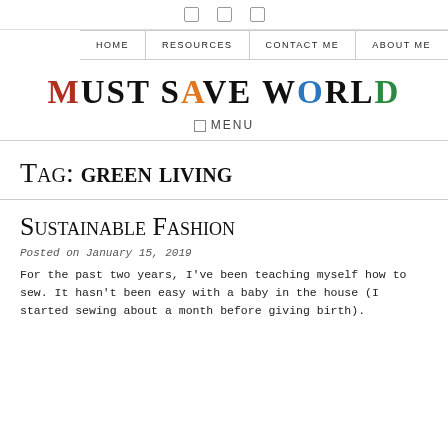[social icon] [social icon] [social icon]
HOME  RESOURCES  CONTACT ME  ABOUT ME
MUST SAVE WORLD
☰ MENU
Tag: green living
Sustainable Fashion
Posted on January 15, 2019
For the past two years, I've been teaching myself how to sew. It hasn't been easy with a baby in the house (I started sewing about a month before giving birth).